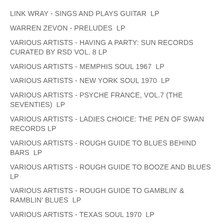LINK WRAY - SINGS AND PLAYS GUITAR  LP
WARREN ZEVON - PRELUDES  LP
VARIOUS ARTISTS - HAVING A PARTY: SUN RECORDS CURATED BY RSD VOL. 8 LP
VARIOUS ARTISTS - MEMPHIS SOUL 1967  LP
VARIOUS ARTISTS - NEW YORK SOUL 1970  LP
VARIOUS ARTISTS - PSYCHE FRANCE, VOL.7 (THE SEVENTIES)  LP
VARIOUS ARTISTS - LADIES CHOICE: THE PEN OF SWAN RECORDS LP
VARIOUS ARTISTS - ROUGH GUIDE TO BLUES BEHIND BARS  LP
VARIOUS ARTISTS - ROUGH GUIDE TO BOOZE AND BLUES  LP
VARIOUS ARTISTS - ROUGH GUIDE TO GAMBLIN' & RAMBLIN' BLUES  LP
VARIOUS ARTISTS - TEXAS SOUL 1970  LP